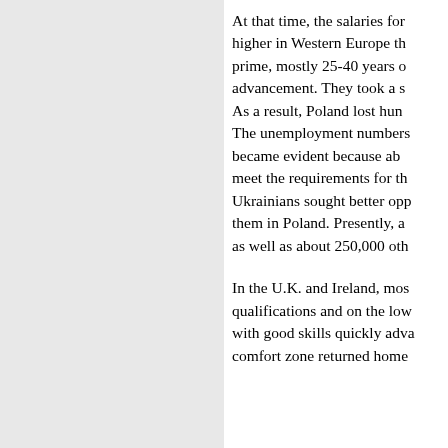At that time, the salaries for higher in Western Europe th prime, mostly 25-40 years o advancement. They took a s As a result, Poland lost hun The unemployment numbers became evident because ab meet the requirements for th Ukrainians sought better opp them in Poland. Presently, a as well as about 250,000 oth
In the U.K. and Ireland, mos qualifications and on the low with good skills quickly adva comfort zone returned home